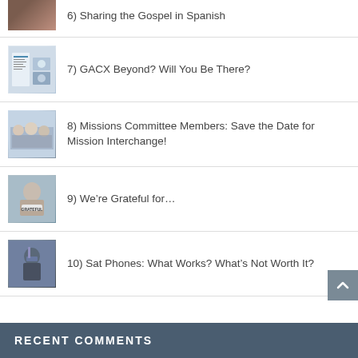6) Sharing the Gospel in Spanish
7) GACX Beyond? Will You Be There?
8) Missions Committee Members: Save the Date for Mission Interchange!
9) We’re Grateful for…
10) Sat Phones: What Works? What’s Not Worth It?
RECENT COMMENTS